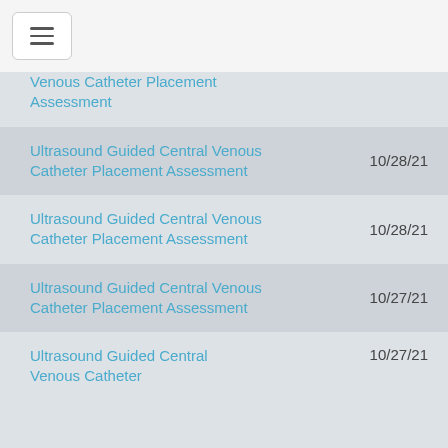[Figure (screenshot): Navigation hamburger menu button]
Venous Catheter Placement Assessment
Ultrasound Guided Central Venous Catheter Placement Assessment	10/28/21
Ultrasound Guided Central Venous Catheter Placement Assessment	10/28/21
Ultrasound Guided Central Venous Catheter Placement Assessment	10/27/21
Ultrasound Guided Central Venous Catheter Placement Assessment	10/27/21